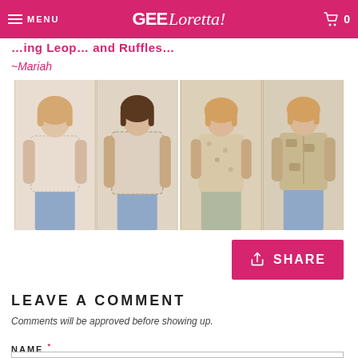GEE Loretta! — Menu / Cart 0
~Mariah
[Figure (photo): Fashion photo collage showing four women modeling lace/floral tops and blouses in neutral tones, paired with jeans]
SHARE
LEAVE A COMMENT
Comments will be approved before showing up.
NAME *